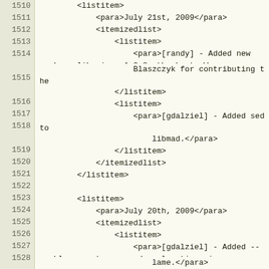1510    <listitem>
1511        <para>July 21st, 2009</para>
1512        <itemizedlist>
1513            <listitem>
1514                <para>[randy] - Added new package libunique-1.0.8, thanks to Wayne
1515                    Blaszczyk for contributing the patch.</para>
1516            </listitem>
1517            <listitem>
1518                <para>[gdalziel] - Added sed to remove obsolete -fforce-mem from
1519                    libmad.</para>
1520            </listitem>
1521        </itemizedlist>
1522        </listitem>
1523
1524        <listitem>
1525            <para>July 20th, 2009</para>
1526        <itemizedlist>
1527            <listitem>
1528                <para>[gdalziel] - Added -- enable-nasm to command explanations in
1529                    lame.</para>